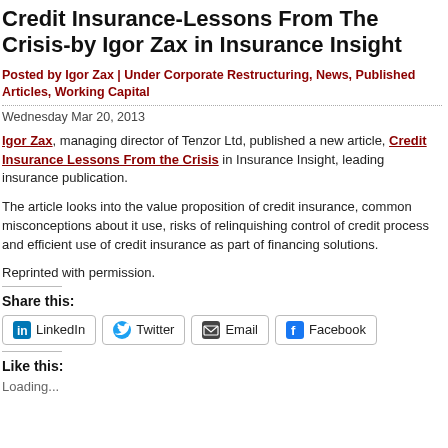Credit Insurance-Lessons From The Crisis-by Igor Zax in Insurance Insight
Posted by Igor Zax | Under Corporate Restructuring, News, Published Articles, Working Capital
Wednesday Mar 20, 2013
Igor Zax, managing director of Tenzor Ltd, published a new article, Credit Insurance Lessons From the Crisis in Insurance Insight, leading insurance publication.
The article looks into the value proposition of credit insurance, common misconceptions about it use, risks of relinquishing control of credit process and efficient use of credit insurance as part of financing solutions.
Reprinted with permission.
Share this:
[Figure (infographic): Social share buttons: LinkedIn, Twitter, Email, Facebook]
Like this:
Loading...